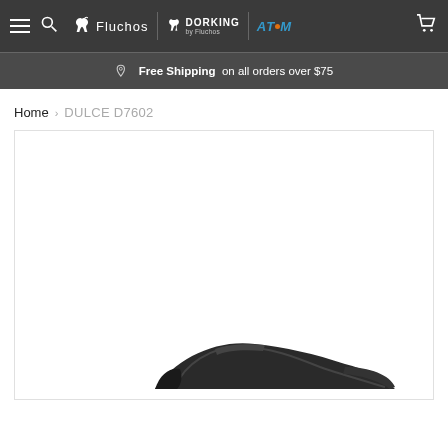Fluchos | Dorking by Fluchos | ATOM — Navigation bar with hamburger menu, search, brand logos, and cart icon
Free Shipping on all orders over $75
Home > DULCE D7602
[Figure (photo): Product photo of a dark/black shoe (DULCE D7602) partially visible at the bottom of the image frame, shown against a white background within a bordered container.]